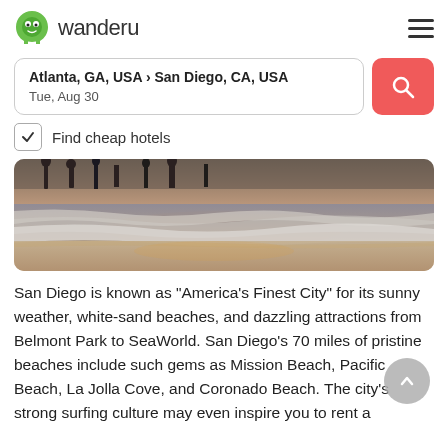wanderu
Atlanta, GA, USA › San Diego, CA, USA
Tue, Aug 30
Find cheap hotels
[Figure (photo): Beach at sunset with waves washing ashore and people silhouetted in the background]
San Diego is known as "America's Finest City" for its sunny weather, white-sand beaches, and dazzling attractions from Belmont Park to SeaWorld. San Diego's 70 miles of pristine beaches include such gems as Mission Beach, Pacific Beach, La Jolla Cove, and Coronado Beach. The city's strong surfing culture may even inspire you to rent a